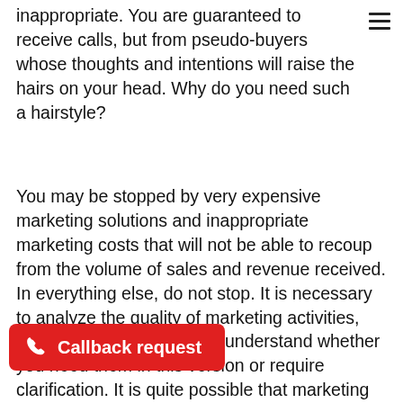inappropriate. You are guaranteed to receive calls, but from pseudo-buyers whose thoughts and intentions will raise the hairs on your head. Why do you need such a hairstyle?
You may be stopped by very expensive marketing solutions and inappropriate marketing costs that will not be able to recoup from the volume of sales and revenue received. In everything else, do not stop. It is necessary to analyze the quality of marketing activities, their relevance, in order to understand whether you need them in this version or require clarification. It is quite possible that marketing costs are high at first, and then they will get a decrease, but this also needs to be analyzed.
Callback request